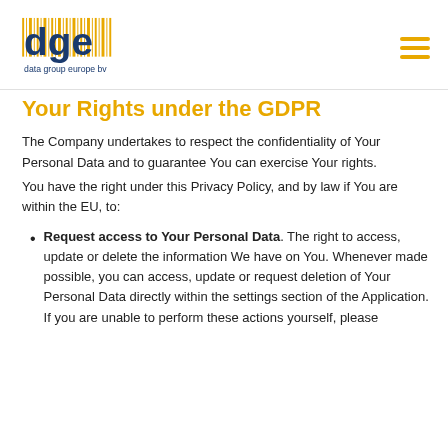[Figure (logo): dge - data group europe bv logo with yellow barcode-style vertical lines and blue text]
Your Rights under the GDPR
The Company undertakes to respect the confidentiality of Your Personal Data and to guarantee You can exercise Your rights.
You have the right under this Privacy Policy, and by law if You are within the EU, to:
Request access to Your Personal Data. The right to access, update or delete the information We have on You. Whenever made possible, you can access, update or request deletion of Your Personal Data directly within the settings section of the Application. If you are unable to perform these actions yourself, please